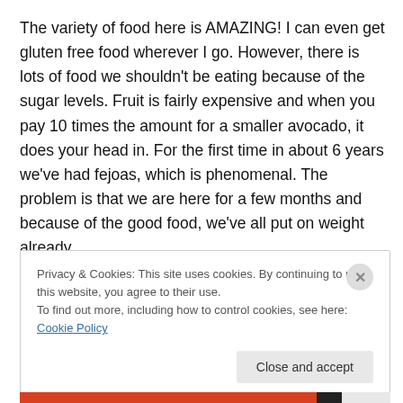The variety of food here is AMAZING! I can even get gluten free food wherever I go. However, there is lots of food we shouldn't be eating because of the sugar levels. Fruit is fairly expensive and when you pay 10 times the amount for a smaller avocado, it does your head in. For the first time in about 6 years we've had fejoas, which is phenomenal. The problem is that we are here for a few months and because of the good food, we've all put on weight already.
Privacy & Cookies: This site uses cookies. By continuing to use this website, you agree to their use.
To find out more, including how to control cookies, see here: Cookie Policy